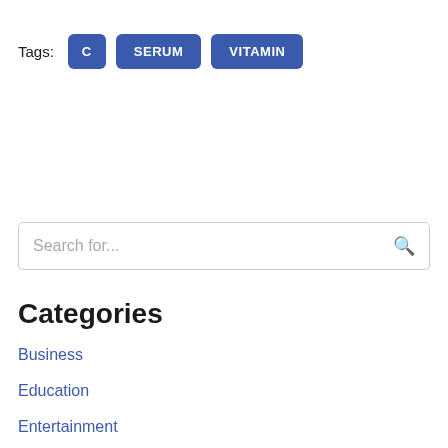Tags: C SERUM VITAMIN
Search for...
Categories
Business
Education
Entertainment